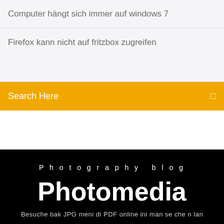Computer hängt sich immer auf windows 7
Firefox kann nicht auf fritzbox zugreifen
Search Here
Photography blog
Photomedia
Besuche bak JPG meni di PDF online ini man se che n lan